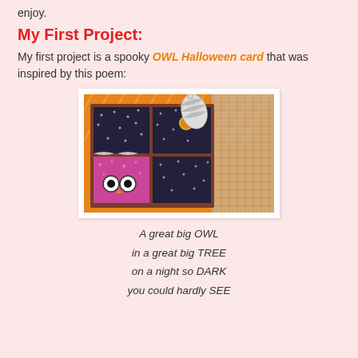enjoy.
My First Project:
My first project is a spooky OWL Halloween card that was inspired by this poem:
[Figure (photo): Close-up photo of a handmade Halloween owl card in a dark wooden box frame with star-patterned black cells, an orange leaf-patterned background, a pink glitter owl body with googly eyes, and a silver owl wing charm on top.]
A great big OWL
in a great big TREE
on a night so DARK
you could hardly SEE